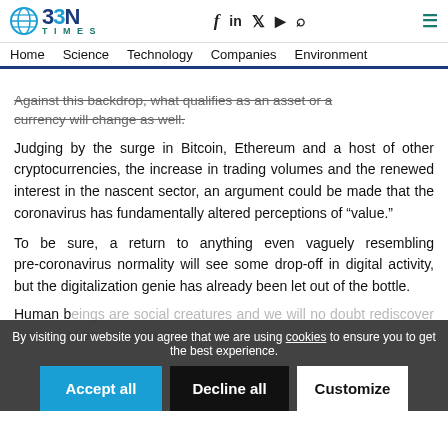BBN Times — Home | Science | Technology | Companies | Environment
Against this backdrop, what qualifies as an asset or a currency will change as well.
Judging by the surge in Bitcoin, Ethereum and a host of other cryptocurrencies, the increase in trading volumes and the renewed interest in the nascent sector, an argument could be made that the coronavirus has fundamentally altered perceptions of “value.”
To be sure, a return to anything even vaguely resembling pre-coronavirus normality will see some drop-off in digital activity, but the digitalization genie has already been let out of the bottle.
Human beings are social creatures and we will no doubt rediscover the joys of personal contact, but the